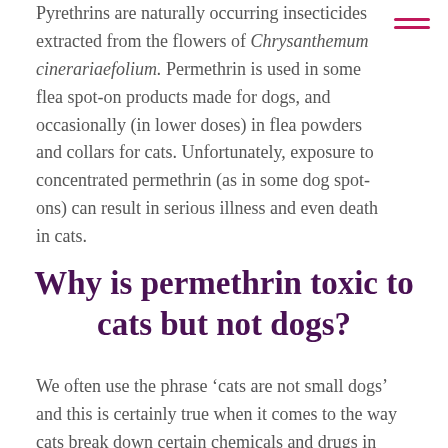Pyrethrins are naturally occurring insecticides extracted from the flowers of Chrysanthemum cinerariaefolium. Permethrin is used in some flea spot-on products made for dogs, and occasionally (in lower doses) in flea powders and collars for cats. Unfortunately, exposure to concentrated permethrin (as in some dog spot-ons) can result in serious illness and even death in cats.
Why is permethrin toxic to cats but not dogs?
We often use the phrase ‘cats are not small dogs’ and this is certainly true when it comes to the way cats break down certain chemicals and drugs in